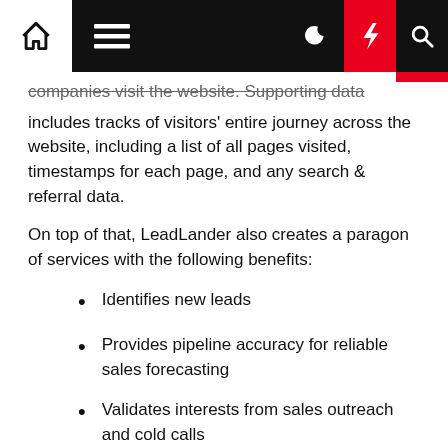[navigation bar with home, menu, dark mode, lightning, search icons]
companies visit the website. Supporting data includes tracks of visitors' entire journey across the website, including a list of all pages visited, timestamps for each page, and any search & referral data.
On top of that, LeadLander also creates a paragon of services with the following benefits:
Identifies new leads
Provides pipeline accuracy for reliable sales forecasting
Validates interests from sales outreach and cold calls
Syncs inbound leads with digital marketing campaigns